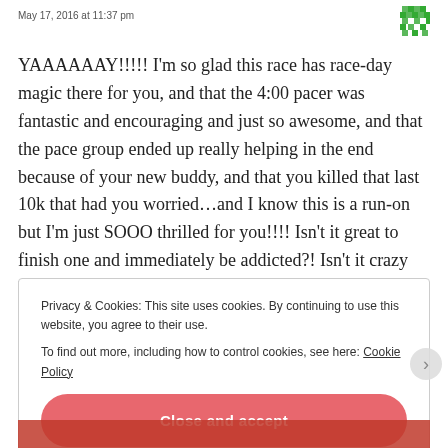May 17, 2016 at 11:37 pm
YAAAAAAY!!!!! I'm so glad this race has race-day magic there for you, and that the 4:00 pacer was fantastic and encouraging and just so awesome, and that the pace group ended up really helping in the end because of your new buddy, and that you killed that last 10k that had you worried…and I know this is a run-on but I'm just SOOO thrilled for you!!!! Isn't it great to finish one and immediately be addicted?! Isn't it crazy how the last mile feels like FOREVER and even when you see the finish it still takes EONS to get there?! There are
Privacy & Cookies: This site uses cookies. By continuing to use this website, you agree to their use.
To find out more, including how to control cookies, see here: Cookie Policy
Close and accept